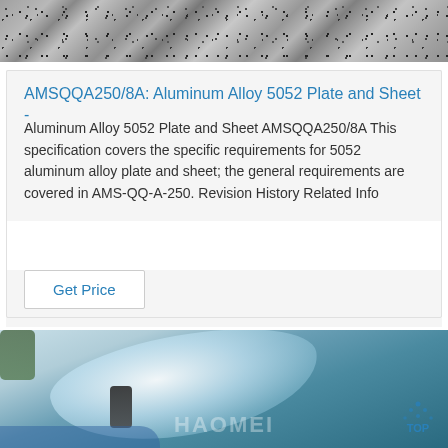[Figure (photo): Granite or stone texture material at the top of the page]
AMSQQA250/8A: Aluminum Alloy 5052 Plate and Sheet -…
Aluminum Alloy 5052 Plate and Sheet AMSQQA250/8A This specification covers the specific requirements for 5052 aluminum alloy plate and sheet; the general requirements are covered in AMS-QQ-A-250. Revision History Related Info
Get Price
[Figure (photo): Person holding a device testing a large roll of aluminum sheet wrapped in plastic, with HAOMEI watermark and TOP logo overlay]